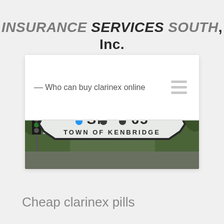INSURANCE SERVICES SOUTH, Inc.
-- Who can buy clarinex online
[Figure (photo): Photo of a road sign reading 'SN 65 TOWN OF KENBRIDGE' with traffic lights and trees in the background. Blue and dark dots overlaid on the sign.]
Cheap clarinex pills